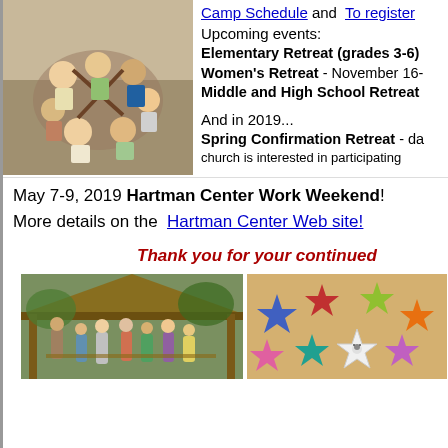[Figure (photo): Children doing a group activity outdoors, holding sticks in a circle]
Camp Schedule and To register
Upcoming events:
Elementary Retreat (grades 3-6)
Women's Retreat - November 16-
Middle and High School Retreat
And in 2019...
Spring Confirmation Retreat - da- church is interested in participating
May 7-9, 2019 Hartman Center Work Weekend!
More details on the  Hartman Center Web site!
Thank you for your continued
[Figure (photo): Group of children and adults gathered under a pavilion/shelter outdoors]
[Figure (photo): Colorful star-shaped paper crafts on a table]